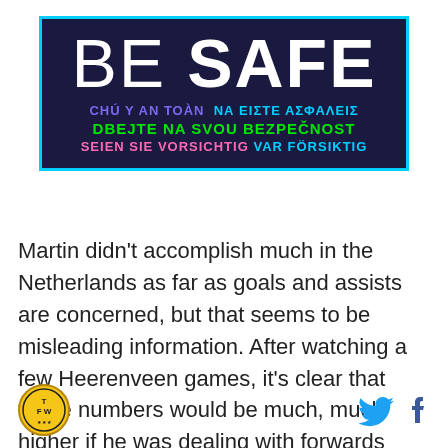[Figure (infographic): Dark navy banner with cyan border reading BE SAFE in large white bold text, with multilingual translations below in various colors: Vietnamese (purple), Greek (cyan), Czech (green), German (pink), Swedish (cyan).]
Martin didn't accomplish much in the Netherlands as far as goals and assists are concerned, but that seems to be misleading information. After watching a few Heerenveen games, it's clear that those numbers would be much, much higher if he was dealing with forwards who possessed even half a brain. Not only that, but he he often found himself out of position,
[Figure (logo): TFW circular yellow and black logo]
[Figure (infographic): Twitter bird icon in blue and Facebook f icon in dark blue]